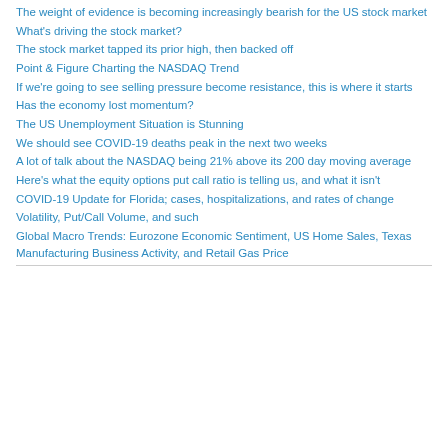The weight of evidence is becoming increasingly bearish for the US stock market
What's driving the stock market?
The stock market tapped its prior high, then backed off
Point & Figure Charting the NASDAQ Trend
If we're going to see selling pressure become resistance, this is where it starts
Has the economy lost momentum?
The US Unemployment Situation is Stunning
We should see COVID-19 deaths peak in the next two weeks
A lot of talk about the NASDAQ being 21% above its 200 day moving average
Here's what the equity options put call ratio is telling us, and what it isn't
COVID-19 Update for Florida; cases, hospitalizations, and rates of change
Volatility, Put/Call Volume, and such
Global Macro Trends: Eurozone Economic Sentiment, US Home Sales, Texas Manufacturing Business Activity, and Retail Gas Price